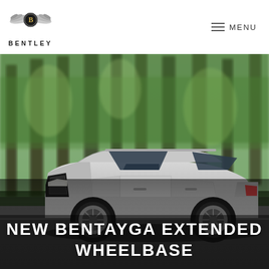[Figure (logo): Bentley Motors logo with winged B emblem and BENTLEY text below]
[Figure (other): Hamburger menu icon with MENU text]
[Figure (photo): Silver Bentley Bentayga Extended Wheelbase SUV driving on a road through a forest of tall green trees, motion-blurred background]
NEW BENTAYGA EXTENDED WHEELBASE